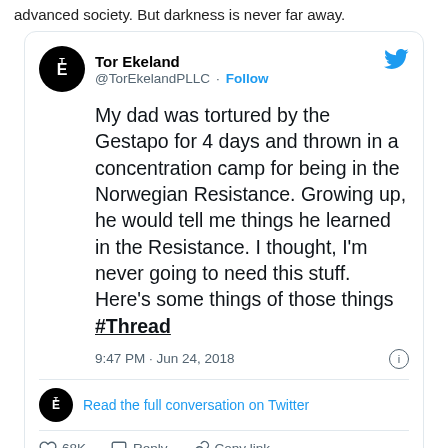advanced society. But darkness is never far away.
[Figure (screenshot): Embedded tweet from @TorEkelandPLLC. Text: My dad was tortured by the Gestapo for 4 days and thrown in a concentration camp for being in the Norwegian Resistance. Growing up, he would tell me things he learned in the Resistance. I thought, I'm never going to need this stuff. Here's some things of those things #Thread. Timestamp: 9:47 PM · Jun 24, 2018. 68K likes. Read 907 replies.]